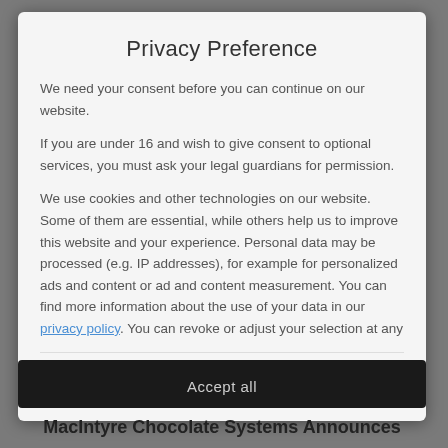Privacy Preference
We need your consent before you can continue on our website.
If you are under 16 and wish to give consent to optional services, you must ask your legal guardians for permission.
We use cookies and other technologies on our website. Some of them are essential, while others help us to improve this website and your experience. Personal data may be processed (e.g. IP addresses), for example for personalized ads and content or ad and content measurement. You can find more information about the use of your data in our privacy policy. You can revoke or adjust your selection at any
Essential
Statistics
External Media
Accept all
MacIntyre Chocolate Systems Announces